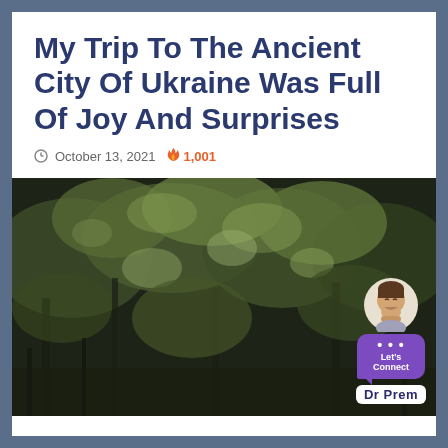My Trip To The Ancient City Of Ukraine Was Full Of Joy And Surprises
October 13, 2021  1,001
[Figure (photo): Overhead view of dense tree canopy with lush green foliage, monochrome-tinted photo. A Dr Prem avatar/mascot badge with a purple chat bubble 'Let's Connect' and 'Dr Prem' label overlaid in the bottom right corner.]